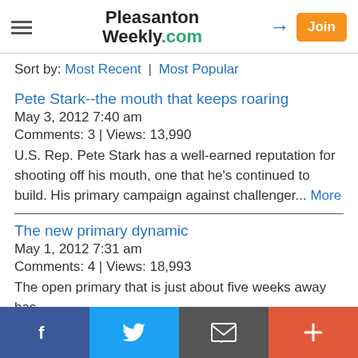Pleasanton Weekly.com
Sort by: Most Recent | Most Popular
Pete Stark--the mouth that keeps roaring
May 3, 2012 7:40 am
Comments: 3 | Views: 13,990
U.S. Rep. Pete Stark has a well-earned reputation for shooting off his mouth, one that he's continued to build. His primary campaign against challenger... More
The new primary dynamic
May 1, 2012 7:31 am
Comments: 4 | Views: 18,993
The open primary that is just about five weeks away has
f | Twitter | Email | +